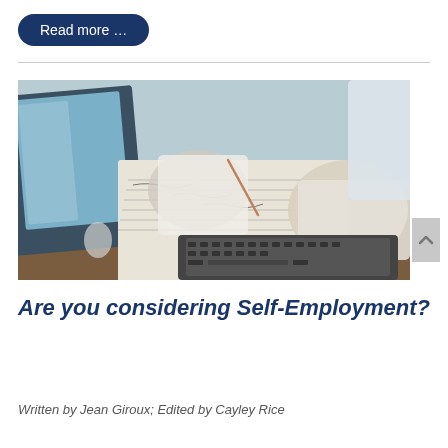Read more …
[Figure (photo): Two people at a desk with laptops, one person writing notes on paper with a pencil, business/office meeting setting]
Are you considering Self-Employment?
Written by Jean Giroux; Edited by Cayley Rice